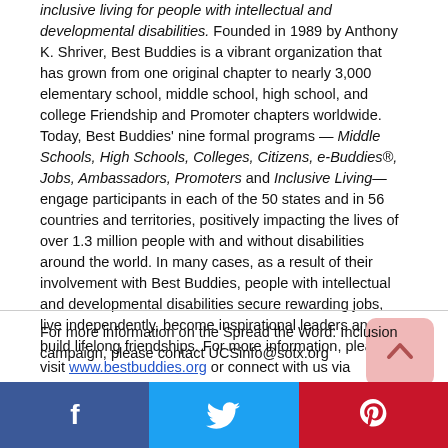inclusive living for people with intellectual and developmental disabilities. Founded in 1989 by Anthony K. Shriver, Best Buddies is a vibrant organization that has grown from one original chapter to nearly 3,000 elementary school, middle school, high school, and college Friendship and Promoter chapters worldwide. Today, Best Buddies' nine formal programs — Middle Schools, High Schools, Colleges, Citizens, e-Buddies®, Jobs, Ambassadors, Promoters and Inclusive Living— engage participants in each of the 50 states and in 56 countries and territories, positively impacting the lives of over 1.3 million people with and without disabilities around the world. In many cases, as a result of their involvement with Best Buddies, people with intellectual and developmental disabilities secure rewarding jobs, live independently, become inspirational leaders and build lifelong friendships. For more information, please visit www.bestbuddies.org or connect with us via Facebook, Instagram or Twitter.
For more information on the Spread the Word: Inclusion campaign, please contact UCSinfo@sotx.org